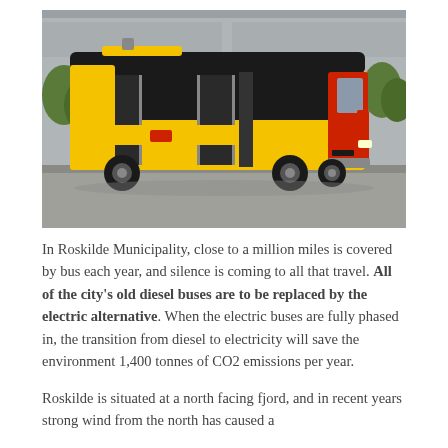[Figure (photo): A large yellow and red articulated electric bus parked in front of a grey building, with its doors open. The bus has a distinctive yellow body with a black upper section and red accents.]
In Roskilde Municipality, close to a million miles is covered by bus each year, and silence is coming to all that travel. All of the city's old diesel buses are to be replaced by the electric alternative. When the electric buses are fully phased in, the transition from diesel to electricity will save the environment 1,400 tonnes of CO2 emissions per year.
Roskilde is situated at a north facing fjord, and in recent years strong wind from the north has caused a